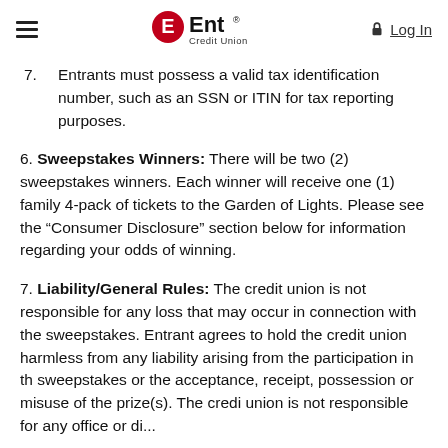Ent Credit Union | Log In
7. Entrants must possess a valid tax identification number, such as an SSN or ITIN for tax reporting purposes.
6. Sweepstakes Winners: There will be two (2) sweepstakes winners. Each winner will receive one (1) family 4-pack of tickets to the Garden of Lights. Please see the “Consumer Disclosure” section below for information regarding your odds of winning.
7. Liability/General Rules: The credit union is not responsible for any loss that may occur in connection with the sweepstakes. Entrant agrees to hold the credit union harmless from any liability arising from the participation in the sweepstakes or the acceptance, receipt, possession or misuse of the prize(s). The credit union is not responsible for any...